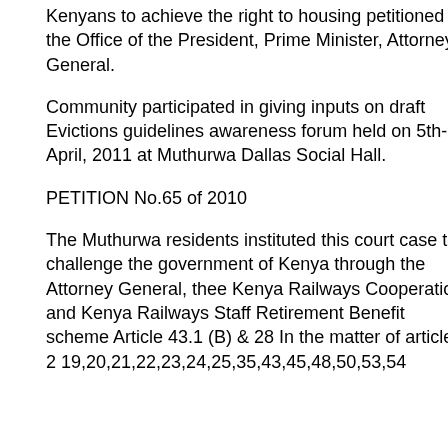Kenyans to achieve the right to housing petitioned the Office of the President, Prime Minister, Attorney General.
Community participated in giving inputs on draft Evictions guidelines awareness forum held on 5th-April, 2011 at Muthurwa Dallas Social Hall.
PETITION No.65 of 2010
The Muthurwa residents instituted this court case to challenge the government of Kenya through the Attorney General, thee Kenya Railways Cooperation and Kenya Railways Staff Retirement Benefit scheme Article 43.1 (B) & 28 In the matter of articles 2 19,20,21,22,23,24,25,35,43,45,48,50,53,54